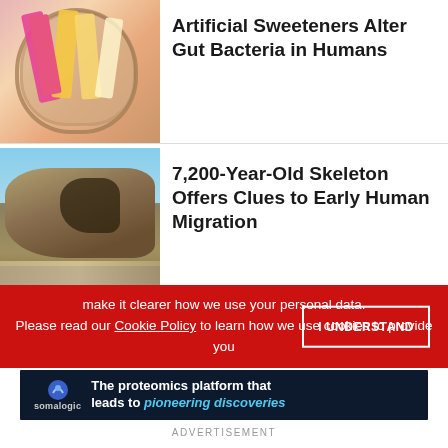[Figure (photo): Jar containing colorful artificial sweetener packets (pink, yellow, white)]
Artificial Sweeteners Alter Gut Bacteria in Humans
[Figure (photo): Rocky cave cliff face with people at the base on a beach]
7,200-Year-Old Skeleton Offers Clues to Early Human Migration
make it clearer how we use your personal data.
Please read our Cookie Policy to learn how we use cookies to provide you
I UNDERSTAND
[Figure (other): Somalogic advertisement: The proteomics platform that leads to pioneering discoveries]
ADVERTISEMENT